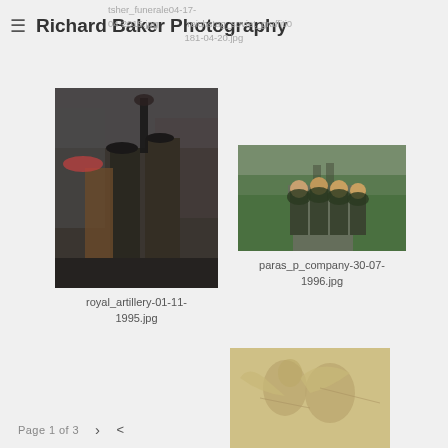Richard Baker Photography
tsher_funerale04-17-04-2015.jpg   reichstag_soviet_graffiti0181-04-20.jpg
[Figure (photo): Military band members in uniform, one holding an instrument aloft, photographed in rainy conditions on a street]
royal_artillery-01-11-1995.jpg
[Figure (photo): Group of soldiers in camouflage gear running/marching down a road with heavy packs and foliage camouflage]
paras_p_company-30-07-1996.jpg
[Figure (photo): Stone relief carving showing classical figures, partially visible at bottom of page]
Page 1 of 3